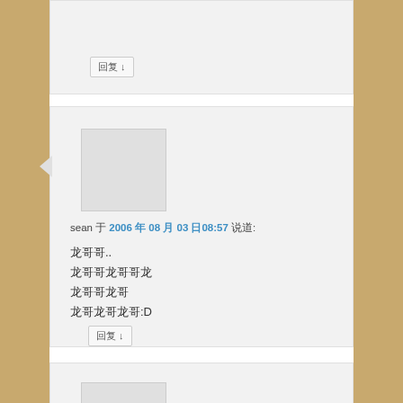[Figure (screenshot): Top comment card (partial, cut off), with a reply button showing '回复 ↓']
[Figure (screenshot): Middle comment card with avatar placeholder, author 'sean' posting on 2006年08月03日08:57, with Chinese text content and reply button]
sean 于 2006 年 08 月 03 日08:57 说道:
龙哥哥..
龙哥哥龙哥哥龙
龙哥哥龙哥
龙哥龙哥龙哥:D
[Figure (screenshot): Bottom comment card (partial, cut off), with avatar placeholder visible]